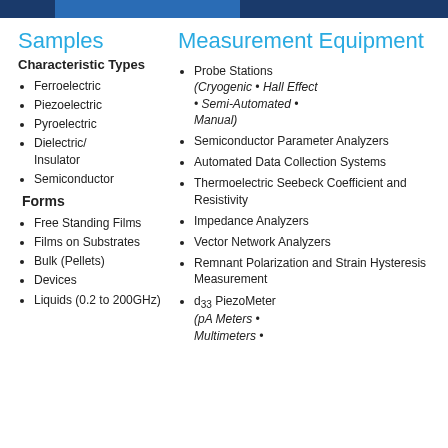Samples
Characteristic Types
Ferroelectric
Piezoelectric
Pyroelectric
Dielectric/Insulator
Semiconductor
Forms
Free Standing Films
Films on Substrates
Bulk (Pellets)
Devices
Liquids (0.2 to 200GHz)
Measurement Equipment
Probe Stations (Cryogenic · Hall Effect · Semi-Automated · Manual)
Semiconductor Parameter Analyzers
Automated Data Collection Systems
Thermoelectric Seebeck Coefficient and Resistivity
Impedance Analyzers
Vector Network Analyzers
Remnant Polarization and Strain Hysteresis Measurement
d33 PiezoMeter (pA Meters · Multimeters ·